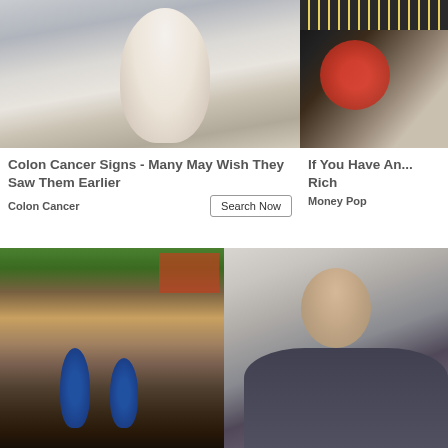[Figure (photo): Man in white polo shirt holding his stomach/abdomen in pain against grey background]
[Figure (photo): Beanie Baby stuffed animals on a grey fabric surface, partially visible on right side]
Colon Cancer Signs - Many May Wish They Saw Them Earlier
Colon Cancer
If You Have An... Rich
Money Pop
[Figure (photo): House foundation repair with hydraulic jacks lifting wooden beam, construction site]
[Figure (photo): Professional woman in grey blazer smiling, business portrait]